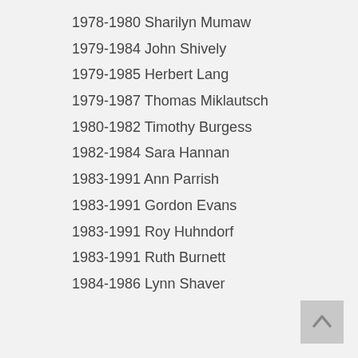1978-1980 Sharilyn Mumaw
1979-1984 John Shively
1979-1985 Herbert Lang
1979-1987 Thomas Miklautsch
1980-1982 Timothy Burgess
1982-1984 Sara Hannan
1983-1991 Ann Parrish
1983-1991 Gordon Evans
1983-1991 Roy Huhndorf
1983-1991 Ruth Burnett
1984-1986 Lynn Shaver